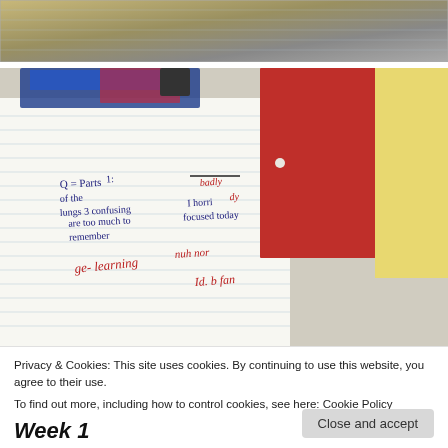[Figure (photo): Top partial photo showing a desk surface with papers/notebook — cropped, only top portion visible]
[Figure (photo): Photo of an open ruled notebook with handwritten notes (Q: Parts of the lungs 3 confusing are too much to remember / ge learning) alongside a red binder and yellow folder on a cluttered desk]
Privacy & Cookies: This site uses cookies. By continuing to use this website, you agree to their use.
To find out more, including how to control cookies, see here: Cookie Policy
Close and accept
Week 1